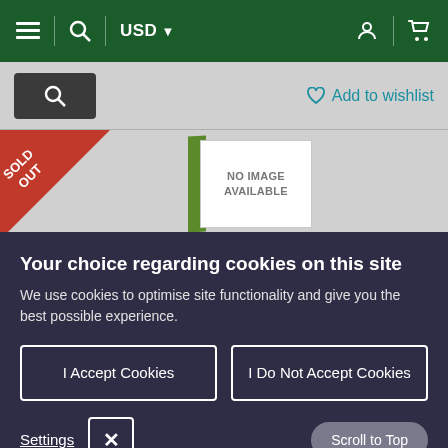[Figure (screenshot): E-commerce website navigation bar with dark green background, hamburger menu, search icon, USD currency selector, user account icon, and shopping cart icon]
[Figure (screenshot): Product listing toolbar with search box and Add to wishlist link]
[Figure (screenshot): Product image area showing a SOLD OUT badge triangle in red and a NO IMAGE AVAILABLE placeholder]
Your choice regarding cookies on this site
We use cookies to optimise site functionality and give you the best possible experience.
I Accept Cookies
I Do Not Accept Cookies
Settings
Scroll to Top